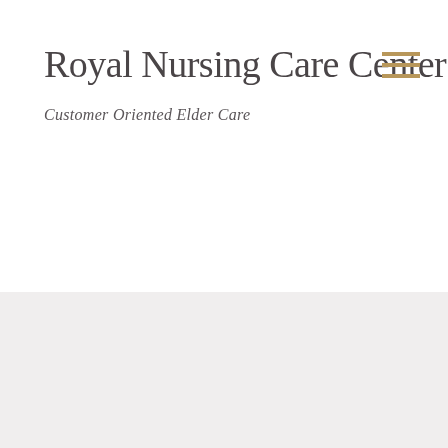Royal Nursing Care Center
Customer Oriented Elder Care
[Figure (illustration): Hamburger menu icon with three gold horizontal lines in top-right corner]
[Figure (illustration): Gold diamond shape with a white building/grid icon in the lower section of the page on a light grey background]